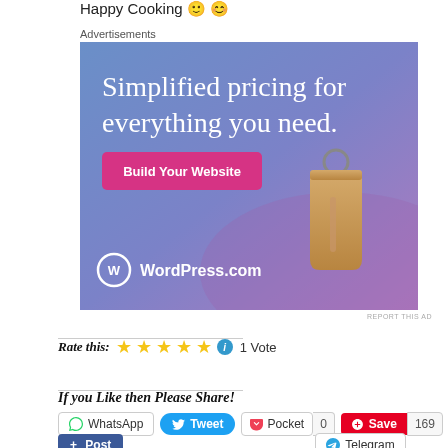Happy Cooking 🙂 😊
Advertisements
[Figure (illustration): WordPress.com advertisement: 'Simplified pricing for everything you need.' with a Build Your Website button and a price tag graphic on a blue-purple gradient background]
REPORT THIS AD
Rate this: ★★★★★ ℹ 1 Vote
If you Like then Please Share!
WhatsApp  Tweet  Pocket 0  Save 169
+ Post  Telegram